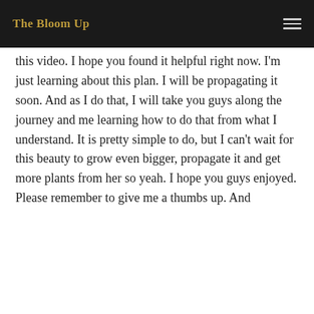The Bloom Up
this video. I hope you found it helpful right now. I'm just learning about this plan. I will be propagating it soon. And as I do that, I will take you guys along the journey and me learning how to do that from what I understand. It is pretty simple to do, but I can't wait for this beauty to grow even bigger, propagate it and get more plants from her so yeah. I hope you guys enjoyed. Please remember to give me a thumbs up. And